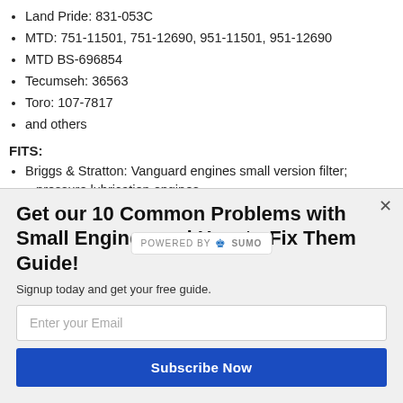Land Pride: 831-053C
MTD: 751-11501, 751-12690, 951-11501, 951-12690
MTD BS-696854
Tecumseh: 36563
Toro: 107-7817
and others
FITS:
Briggs & Stratton: Vanguard engines small version filter; pressure lubrication engines
E-Z-GO: ST480
Gravely: XL Series
John Deere: 2027R, 2032R, 2720, 3005, 3032E, 3033R,
Get our 10 Common Problems with Small Engines and How to Fix Them Guide!
Signup today and get your free guide.
Enter your Email
Subscribe Now